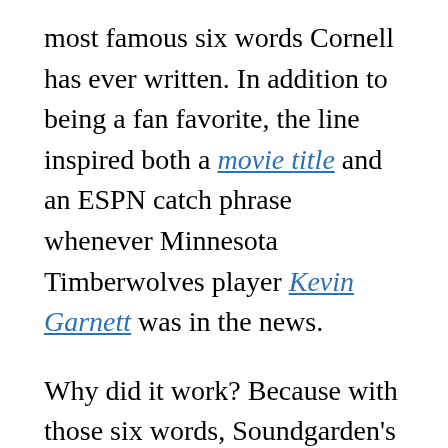most famous six words Cornell has ever written. In addition to being a fan favorite, the line inspired both a movie title and an ESPN catch phrase whenever Minnesota Timberwolves player Kevin Garnett was in the news.
Why did it work? Because with those six words, Soundgarden's audience understood instantly what Chris Cornell was trying to convey. That's the power of metaphor. Cornell is no slouch in the lyrical department, and yet he was taken aback by how well this particular metaphor worked.